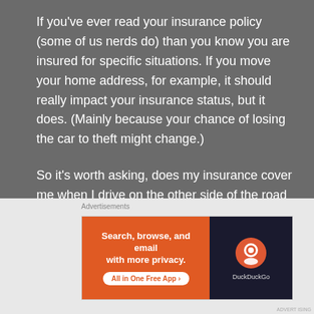If you've ever read your insurance policy (some of us nerds do) than you know you are insured for specific situations. If you move your home address, for example, it should really impact your insurance status, but it does. (Mainly because your chance of losing the car to theft might change.)
So it's worth asking, does my insurance cover me when I drive on the other side of the road (in a country where I'm supposed to–not just for funzies.)
[Figure (screenshot): Advertisement banner for WordPress/New Media showing 'Opinions. We'll be on the other...' text with WordPress and another logo on dark navy background]
[Figure (screenshot): DuckDuckGo advertisement banner: orange left panel with 'Search, browse, and email with more privacy. All in One Free App' and dark right panel with DuckDuckGo logo]